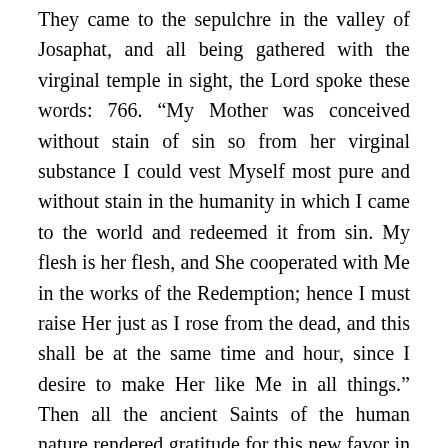They came to the sepulchre in the valley of Josaphat, and all being gathered with the virginal temple in sight, the Lord spoke these words: 766. “My Mother was conceived without stain of sin so from her virginal substance I could vest Myself most pure and without stain in the humanity in which I came to the world and redeemed it from sin. My flesh is her flesh, and She cooperated with Me in the works of the Redemption; hence I must raise Her just as I rose from the dead, and this shall be at the same time and hour, since I desire to make Her like Me in all things.” Then all the ancient Saints of the human nature rendered gratitude for this new favor in songs of praise and glory to the Lord. Those who especially distinguished themselves in their thanksgiving were our first parents Adam and Eve, St. Anne, St. Joachim, and St.